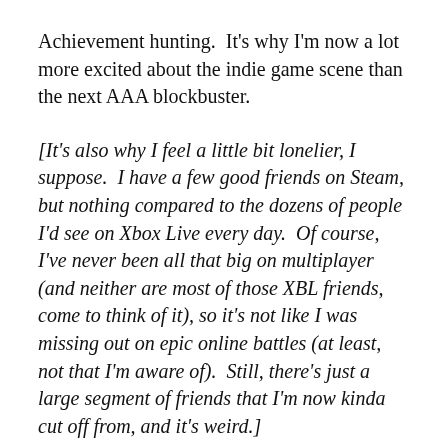Achievement hunting.  It's why I'm now a lot more excited about the indie game scene than the next AAA blockbuster.
[It's also why I feel a little bit lonelier, I suppose.  I have a few good friends on Steam, but nothing compared to the dozens of people I'd see on Xbox Live every day.  Of course, I've never been all that big on multiplayer (and neither are most of those XBL friends, come to think of it), so it's not like I was missing out on epic online battles (at least, not that I'm aware of).  Still, there's just a large segment of friends that I'm now kinda cut off from, and it's weird.]
The other big thing about having a kid and the